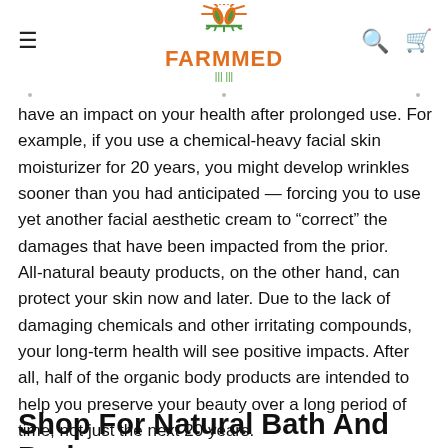FARMMED
have an impact on your health after prolonged use. For example, if you use a chemical-heavy facial skin moisturizer for 20 years, you might develop wrinkles sooner than you had anticipated — forcing you to use yet another facial aesthetic cream to “correct” the damages that have been impacted from the prior.
All-natural beauty products, on the other hand, can protect your skin now and later. Due to the lack of damaging chemicals and other irritating compounds, your long-term health will see positive impacts. After all, half of the organic body products are intended to help you preserve your beauty over a long period of time, not just the next 20 years.
Shop For Natural Bath And Body